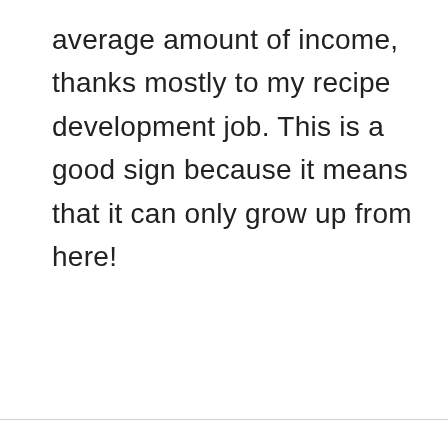average amount of income, thanks mostly to my recipe development job. This is a good sign because it means that it can only grow up from here!